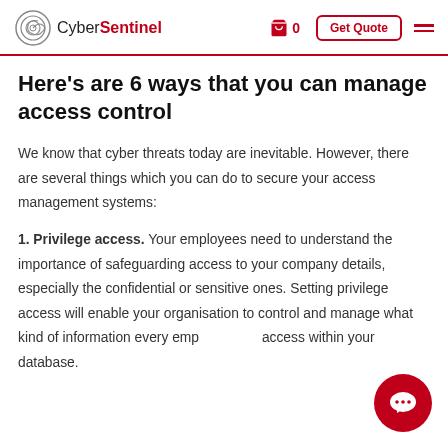CyberSentinel | 0 | Get Quote
Here's are 6 ways that you can manage access control
We know that cyber threats today are inevitable. However, there are several things which you can do to secure your access management systems:
1. Privilege access. Your employees need to understand the importance of safeguarding access to your company details, especially the confidential or sensitive ones. Setting privilege access will enable your organisation to control and manage what kind of information every employee can access within your database.